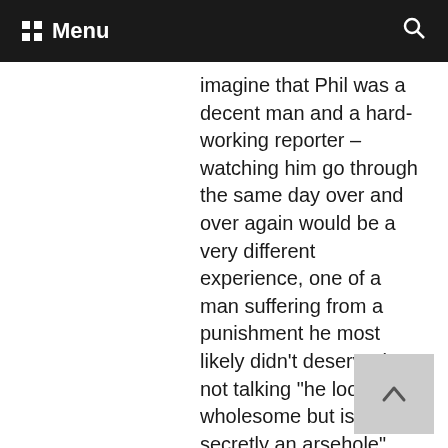Menu
imagine that Phil was a decent man and a hard-working reporter – watching him go through the same day over and over again would be a very different experience, one of a man suffering from a punishment he most likely didn't deserve (I'm not talking "he looks wholesome but is secretly an arsehole", no, a genuinely good man) and has even no idea about. Talk about